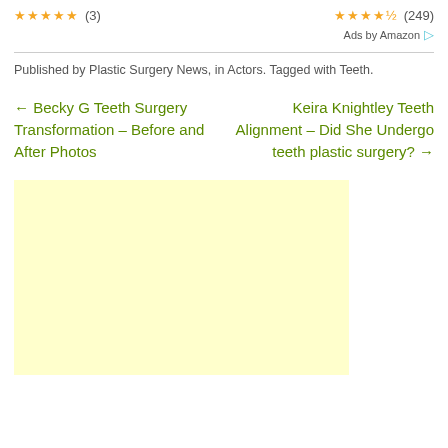[Figure (other): Two product star ratings: left shows 5 stars with (3) reviews, right shows 4.5 stars with (249) reviews]
Ads by Amazon
Published by Plastic Surgery News, in Actors. Tagged with Teeth.
← Becky G Teeth Surgery Transformation – Before and After Photos
Keira Knightley Teeth Alignment – Did She Undergo teeth plastic surgery? →
[Figure (other): Yellow/light-yellow advertisement placeholder block]